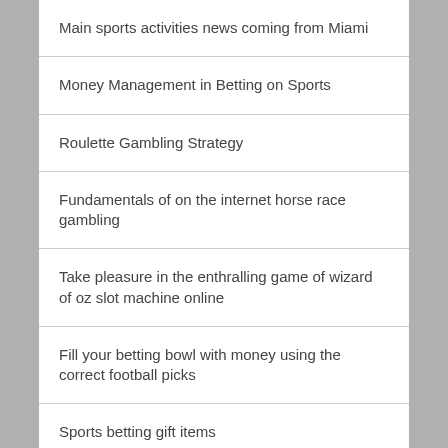Main sports activities news coming from Miami
Money Management in Betting on Sports
Roulette Gambling Strategy
Fundamentals of on the internet horse race gambling
Take pleasure in the enthralling game of wizard of oz slot machine online
Fill your betting bowl with money using the correct football picks
Sports betting gift items
Surge of Huey Lewis and the News and …